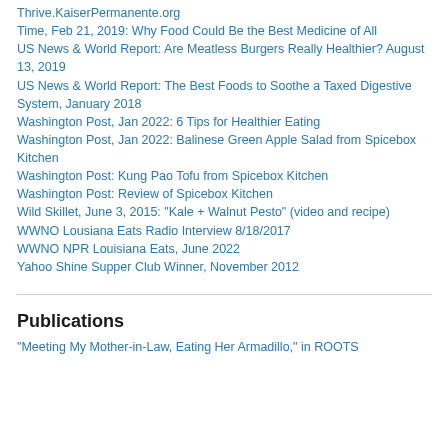Thrive.KaiserPermanente.org
Time, Feb 21, 2019: Why Food Could Be the Best Medicine of All
US News & World Report: Are Meatless Burgers Really Healthier? August 13, 2019
US News & World Report: The Best Foods to Soothe a Taxed Digestive System, January 2018
Washington Post, Jan 2022: 6 Tips for Healthier Eating
Washington Post, Jan 2022: Balinese Green Apple Salad from Spicebox Kitchen
Washington Post: Kung Pao Tofu from Spicebox Kitchen
Washington Post: Review of Spicebox Kitchen
Wild Skillet, June 3, 2015: "Kale + Walnut Pesto" (video and recipe)
WWNO Lousiana Eats Radio Interview 8/18/2017
WWNO NPR Louisiana Eats, June 2022
Yahoo Shine Supper Club Winner, November 2012
Publications
"Meeting My Mother-in-Law, Eating Her Armadillo," in ROOTS